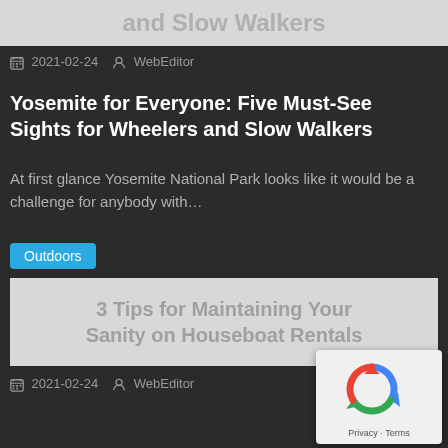[Figure (other): Placeholder image with text 'and Slow Walkers' on grey background]
2021-02-24  WebEditor
Yosemite for Everyone: Five Must-See Sights for Wheelers and Slow Walkers
At first glance Yosemite National Park looks like it would be a challenge for anybody with…
Outdoors
[Figure (other): Placeholder image with text '3 Tips for Maintaining Your Sanity on Houseboat Rentals' on grey background]
2021-02-24  WebEditor
3 Tips for Maintaining Your Sanity on Houseboat Rentals
Houseboating is the rage on lakes all over the country- so much so, that houseboat rentals account…
Outdoors
[Figure (other): Placeholder image with text 'Montego Bay, Jamaica…' on grey background]
[Figure (other): reCAPTCHA widget overlay in bottom right corner showing recycling arrows icon with Privacy and Terms links]